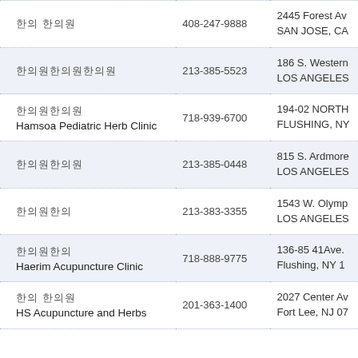| Name | Phone | Address |
| --- | --- | --- |
| 한의원 (Korean) | 408-247-9888 | 2445 Forest Av
SAN JOSE, CA |
| 한의원한의원한의원 (Korean) | 213-385-5523 | 186 S. Western
LOS ANGELES |
| 한의원한의원
Hamsoa Pediatric Herb Clinic | 718-939-6700 | 194-02 NORTH
FLUSHING, NY |
| 한의원한의원 (Korean) | 213-385-0448 | 815 S. Ardmore
LOS ANGELES |
| 한의원한의 (Korean) | 213-383-3355 | 1543 W. Olymp
LOS ANGELES |
| 한의원한의
Haerim Acupuncture Clinic | 718-888-9775 | 136-85 41Ave.
Flushing, NY 1 |
| 한의 한의원
HS Acupuncture and Herbs | 201-363-1400 | 2027 Center Av
Fort Lee, NJ 07 |